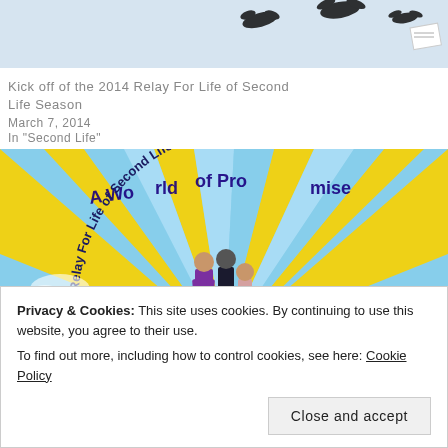[Figure (illustration): Top partial image showing dark silhouettes of birds/figures on a light blue background]
Kick off of the 2014 Relay For Life of Second Life Season
March 7, 2014
In "Second Life"
[Figure (illustration): 2014 Relay For Life of Second Life promotional image showing a half-circle sun with yellow and blue rays, people walking toward a red sphere, with text 'A World of Promise' and '2014 Relay For Life of Second Life']
Privacy & Cookies: This site uses cookies. By continuing to use this website, you agree to their use.
To find out more, including how to control cookies, see here: Cookie Policy
Close and accept